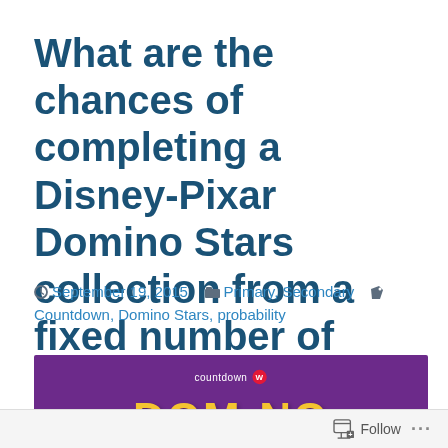What are the chances of completing a Disney-Pixar Domino Stars collection from a fixed number of packets?
September 19, 2015   Primary, Secondary   Countdown, Domino Stars, probability
[Figure (photo): Countdown supermarket Domino Stars promotion banner with purple background and yellow DOMINO text]